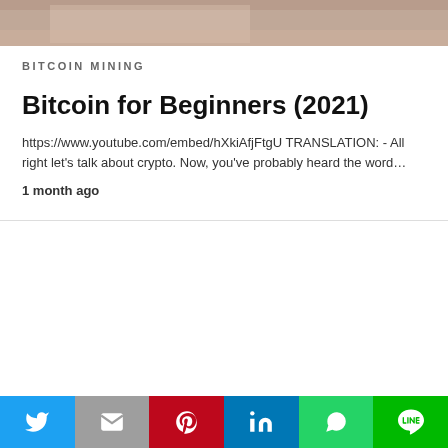[Figure (photo): Partial photo strip showing a person at the top of the page]
BITCOIN MINING
Bitcoin for Beginners (2021)
https://www.youtube.com/embed/hXkiAfjFtgU TRANSLATION: - All right let's talk about crypto. Now, you've probably heard the word…
1 month ago
All Rights Reserved